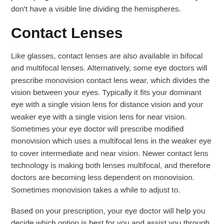prefer progressive lenses for aesthetic reasons as they don't have a visible line dividing the hemispheres.
Contact Lenses
Like glasses, contact lenses are also available in bifocal and multifocal lenses. Alternatively, some eye doctors will prescribe monovision contact lens wear, which divides the vision between your eyes. Typically it fits your dominant eye with a single vision lens for distance vision and your weaker eye with a single vision lens for near vision. Sometimes your eye doctor will prescribe modified monovision which uses a multifocal lens in the weaker eye to cover intermediate and near vision. Newer contact lens technology is making both lenses multifocal, and therefore doctors are becoming less dependent on monovision. Sometimes monovision takes a while to adjust to.
Based on your prescription, your eye doctor will help you decide which option is best for you and assist you through the adjustment period to determine whether this is a feasible option. Since there are so many baby boomers with presbyopia nowadays, the contact lens choices have expanded a lot within